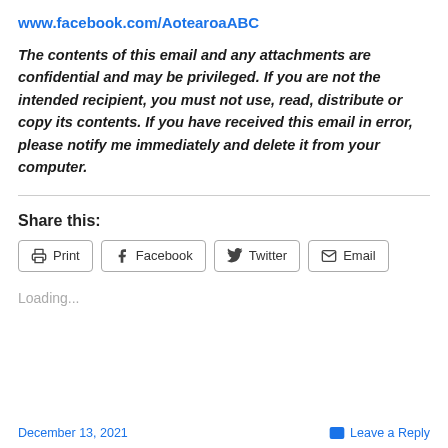www.facebook.com/AotearoaABC
The contents of this email and any attachments are confidential and may be privileged. If you are not the intended recipient, you must not use, read, distribute or copy its contents. If you have received this email in error, please notify me immediately and delete it from your computer.
Share this:
Loading...
December 13, 2021   Leave a Reply